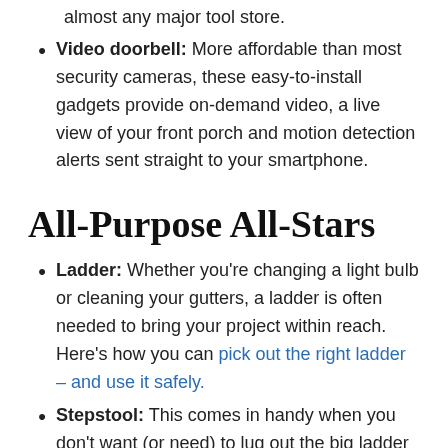Video doorbell: More affordable than most security cameras, these easy-to-install gadgets provide on-demand video, a live view of your front porch and motion detection alerts sent straight to your smartphone.
All-Purpose All-Stars
Ladder: Whether you’re changing a light bulb or cleaning your gutters, a ladder is often needed to bring your project within reach. Here’s how you can pick out the right ladder – and use it safely.
Stepstool: This comes in handy when you don’t want (or need) to lug out the big ladder – whether